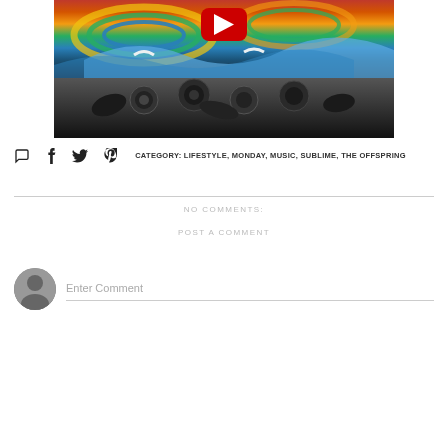[Figure (photo): Colorful swirling mural artwork with waves in blue, yellow, green, orange, red tones at top, and black/white floral roses design at bottom. A YouTube play button overlay is visible at the top center.]
CATEGORY: LIFESTYLE, MONDAY, MUSIC, SUBLIME, THE OFFSPRING
NO COMMENTS:
POST A COMMENT
Enter Comment